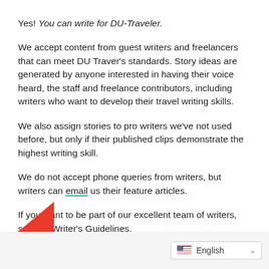Yes! You can write for DU-Traveler.
We accept content from guest writers and freelancers that can meet DU Traver's standards. Story ideas are generated by anyone interested in having their voice heard, the staff and freelance contributors, including writers who want to develop their travel writing skills.
We also assign stories to pro writers we've not used before, but only if their published clips demonstrate the highest writing skill.
We do not accept phone queries from writers, but writers can email us their feature articles.
If you want to be part of our excellent team of writers, see our Writer's Guidelines.
[Figure (other): Partial red geometric shape visible at bottom left]
English